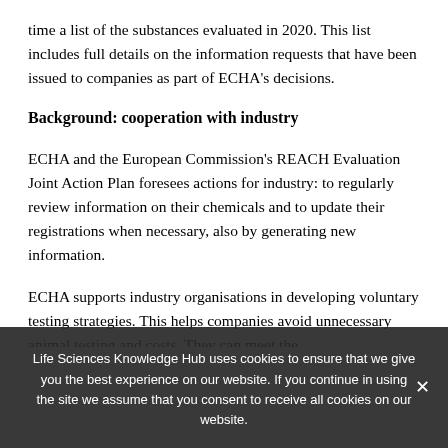time a list of the substances evaluated in 2020. This list includes full details on the information requests that have been issued to companies as part of ECHA's decisions.
Background: cooperation with industry
ECHA and the European Commission's REACH Evaluation Joint Action Plan foresees actions for industry: to regularly review information on their chemicals and to update their registrations when necessary, also by generating new information.
ECHA supports industry organisations in developing voluntary testing strategies. This helps companies avoid unnecessary animal testing and costs. They can meet the
Life Sciences Knowledge Hub uses cookies to ensure that we give you the best experience on our website. If you continue in using the site we assume that you consent to receive all cookies on our website.